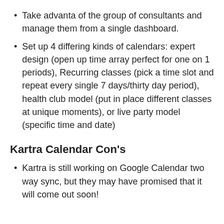Take advanta of the group of consultants and manage them from a single dashboard.
Set up 4 differing kinds of calendars: expert design (open up time array perfect for one on 1 periods), Recurring classes (pick a time slot and repeat every single 7 days/thirty day period), health club model (put in place different classes at unique moments), or live party model (specific time and date)
Kartra Calendar Con’s
Kartra is still working on Google Calendar two way sync, but they may have promised that it will come out soon!